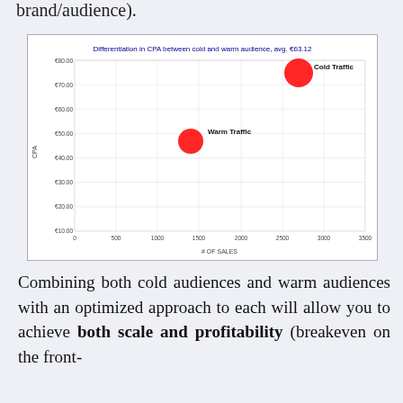brand/audience).
[Figure (scatter-plot): Differentiation in CPA between cold and warm audience, avg. €63.12]
Combining both cold audiences and warm audiences with an optimized approach to each will allow you to achieve both scale and profitability (breakeven on the front-end/this page).